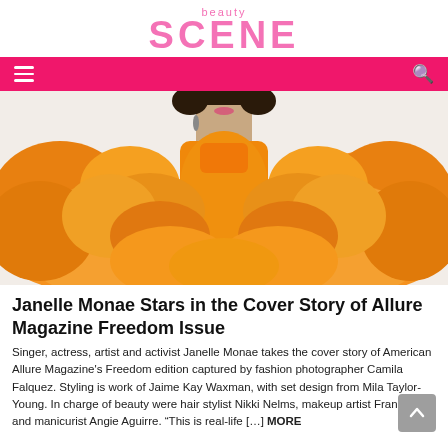beauty SCENE
[Figure (photo): Fashion photo of Janelle Monae wearing a voluminous orange ruffled/tulle dress, photographed from chest up against a light background]
Janelle Monae Stars in the Cover Story of Allure Magazine Freedom Issue
Singer, actress, artist and activist Janelle Monae takes the cover story of American Allure Magazine's Freedom edition captured by fashion photographer Camila Falquez. Styling is work of Jaime Kay Waxman, with set design from Mila Taylor-Young. In charge of beauty were hair stylist Nikki Nelms, makeup artist Francelle, and manicurist Angie Aguirre. “This is real-life […] MORE